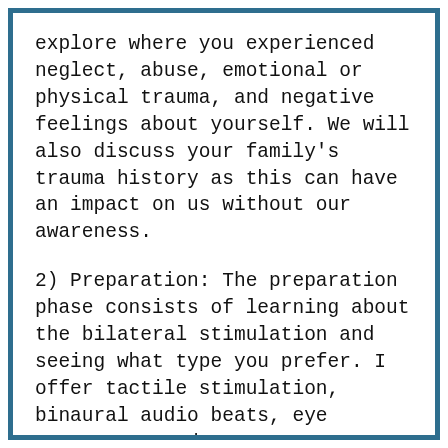explore where you experienced neglect, abuse, emotional or physical trauma, and negative feelings about yourself. We will also discuss your family's trauma history as this can have an impact on us without our awareness.
2) Preparation: The preparation phase consists of learning about the bilateral stimulation and seeing what type you prefer. I offer tactile stimulation, binaural audio beats, eye movements, and